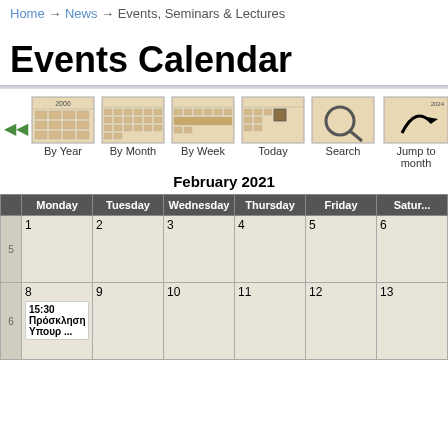Home → News → Events, Seminars & Lectures
Events Calendar
[Figure (other): Calendar navigation icons: left arrow, By Year, By Month, By Week, Today, Search, Jump to month, right arrow]
February 2021
|  | Monday | Tuesday | Wednesday | Thursday | Friday | Satur... |
| --- | --- | --- | --- | --- | --- | --- |
| 5 | 1 | 2 | 3 | 4 | 5 | 6 |
| 6 | 8
15:30 Πρόσκληση Υπουρ ... | 9 | 10 | 11 | 12 | 13 |